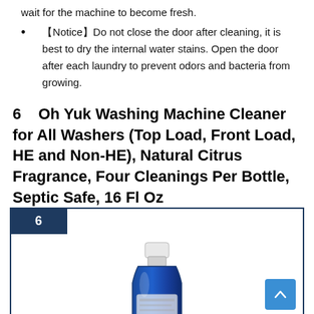wait for the machine to become fresh.
【Notice】Do not close the door after cleaning, it is best to dry the internal water stains. Open the door after each laundry to prevent odors and bacteria from growing.
6    Oh Yuk Washing Machine Cleaner for All Washers (Top Load, Front Load, HE and Non-HE), Natural Citrus Fragrance, Four Cleanings Per Bottle, Septic Safe, 16 Fl Oz
[Figure (photo): Product card with rank badge showing '6' and a blue bottle of Oh Yuk Washing Machine Cleaner with white cap, shown against white background inside a dark navy bordered card. A blue scroll-to-top button appears in the bottom right.]